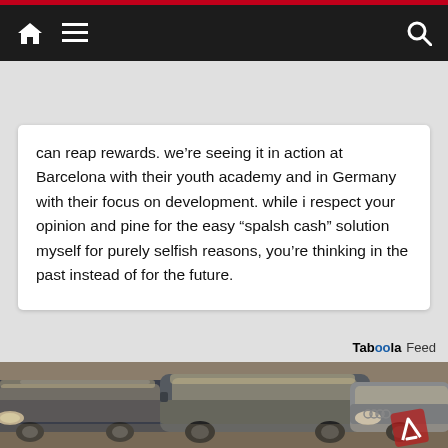Navigation bar with home, menu, and search icons
can reap rewards. we’re seeing it in action at Barcelona with their youth academy and in Germany with their focus on development. while i respect your opinion and pine for the easy “spalsh cash” solution myself for purely selfish reasons, you’re thinking in the past instead of for the future.
Taboola Feed
[Figure (photo): Several dusty/dirty cars parked in an indoor lot, including what appears to be a BMW SUV and an Audi, covered in dust or ash.]